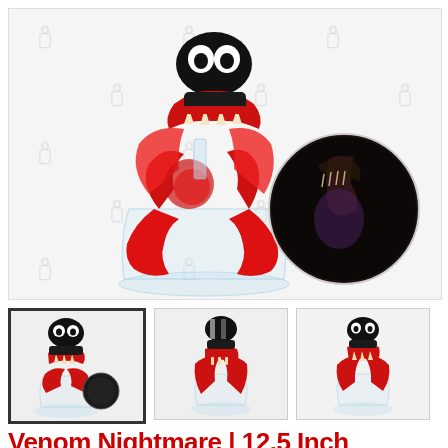[Figure (photo): Main product photo of a Venom Nightmare themed glass bong/water pipe with red and black design, featuring monster-mouth aesthetic with white fangs, red swirling body, and clear glass beaker base. A circular inset photo shows a dark/moody angle of the same product.]
[Figure (photo): Thumbnail 1 (active/selected): Front view of Venom Nightmare bong with black top, red body, clear base, with a circular brand logo badge.]
[Figure (photo): Thumbnail 2: Side/angle view of Venom Nightmare bong showing black and white striped top, red swirling body, clear beaker base.]
[Figure (photo): Thumbnail 3: Another angle of Venom Nightmare bong showing black top, red accents, clear beaker base.]
Venom Nightmare | 12.5 Inch